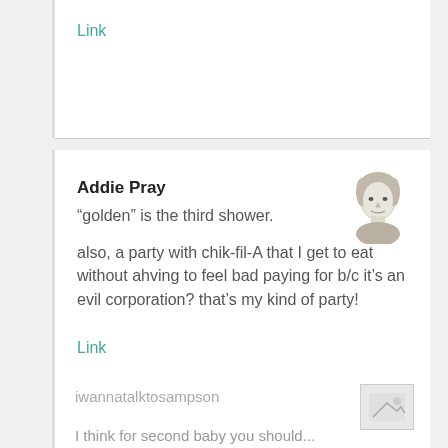Link
Addie Pray
“golden” is the third shower.

also, a party with chik-fil-A that I get to eat without ahving to feel bad paying for b/c it’s an evil corporation? that’s my kind of party!
Link
iwannatalktosampson